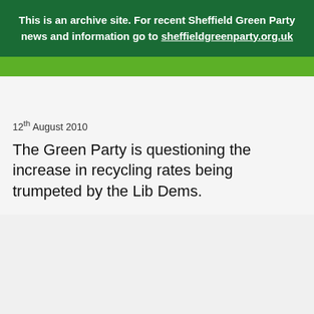This is an archive site. For recent Sheffield Green Party news and information go to sheffieldgreenparty.org.uk
12th August 2010
The Green Party is questioning the increase in recycling rates being trumpeted by the Lib Dems.